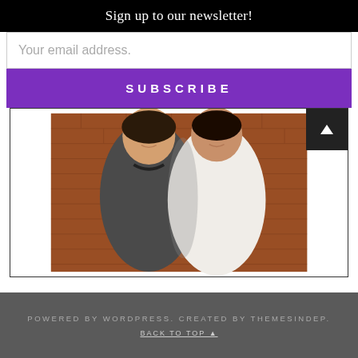Sign up to our newsletter!
Your email address.
SUBSCRIBE
[Figure (photo): Two young women standing back-to-back in front of a red brick wall. The woman on the left wears a dark grey dress with a black bead necklace. The woman on the right wears a white lace dress. Both are smiling.]
POWERED BY WORDPRESS. CREATED BY THEMESINDEP.
BACK TO TOP ▲